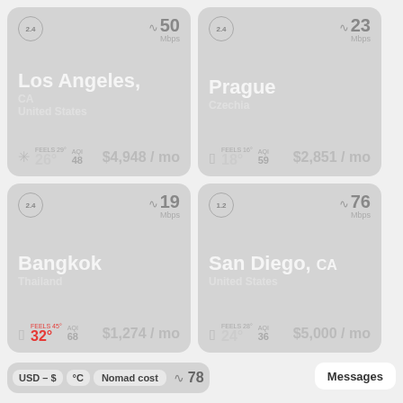[Figure (infographic): Location card: Los Angeles, CA, United States. WiFi: 50 Mbps. Feels 26°, AQI 48, $4,948/mo]
[Figure (infographic): Location card: Prague, Czechia. WiFi: 23 Mbps. Feels 18°, AQI 59, $2,851/mo]
[Figure (infographic): Location card: Bangkok, Thailand. WiFi: 19 Mbps. Feels 45°/32°, AQI 68, $1,274/mo]
[Figure (infographic): Location card: San Diego, CA, United States. WiFi: 76 Mbps. Feels 24°, AQI 36, $5,000/mo]
USD – $  °C  Nomad cost
Messages
78